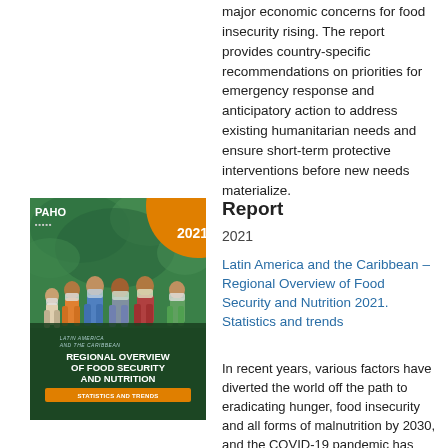major economic concerns for food insecurity rising. The report provides country-specific recommendations on priorities for emergency response and anticipatory action to address existing humanitarian needs and ensure short-term protective interventions before new needs materialize.
[Figure (photo): Book cover of 'Latin America and the Caribbean Regional Overview of Food Security and Nutrition – Statistics and Trends 2021' published by PAHO, showing people wearing masks in a field]
Report
2021
Latin America and the Caribbean – Regional Overview of Food Security and Nutrition 2021. Statistics and trends
In recent years, various factors have diverted the world off the path to eradicating hunger, food insecurity and all forms of malnutrition by 2030, and the COVID-19 pandemic has exacerbated this trend. Latin America and the Caribbean is no exception.